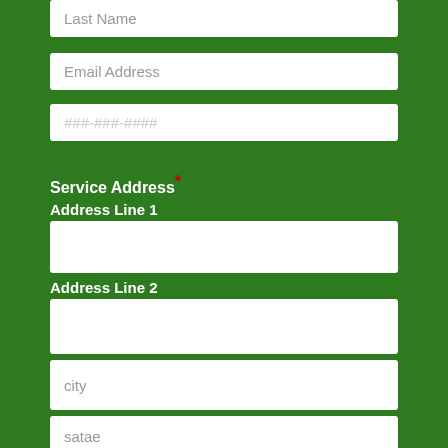Last Name
Email Address
###-###-####
Service Address*
Address Line 1
Address Line 2
city
satae